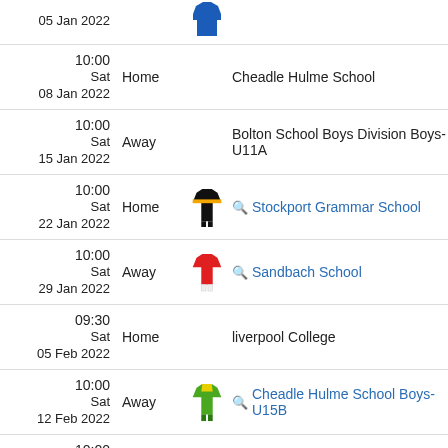05 Jan 2022 | Away
10:00 Sat 08 Jan 2022 | Home | Cheadle Hulme School
10:00 Sat 15 Jan 2022 | Away | Bolton School Boys Division Boys-U11A
10:00 Sat 22 Jan 2022 | Home | Stockport Grammar School
10:00 Sat 29 Jan 2022 | Away | Sandbach School
09:30 Sat 05 Feb 2022 | Home | liverpool College
10:00 Sat 12 Feb 2022 | Away | Cheadle Hulme School Boys-U15B
10:00 Sat 12 Feb 2022 | Away | Cheadle Hulme School
10:00 Sat Away | The Manchester Grammar School